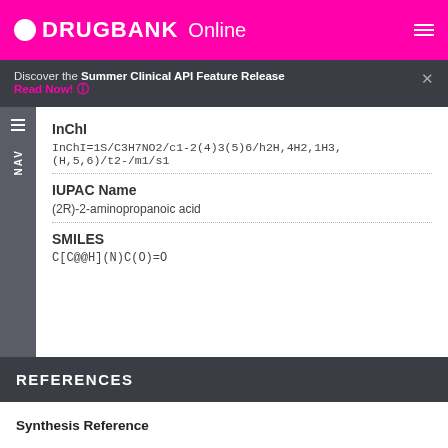DRUGBANK Online
Discover the Summer Clinical API Feature Release Read Now!
InChI
InChI=1S/C3H7NO2/c1-2(4)3(5)6/h2H,4H2,1H3,(H,5,6)/t2-/m1/s1
IUPAC Name
(2R)-2-aminopropanoic acid
SMILES
C[C@@H](N)C(O)=O
REFERENCES
Synthesis Reference